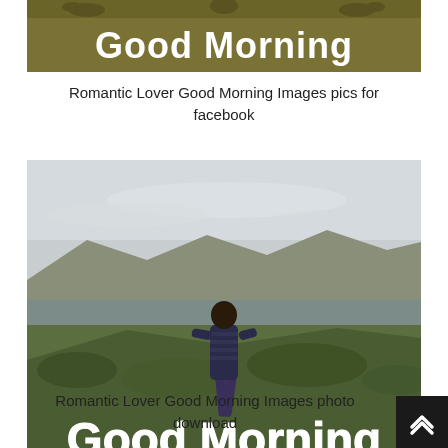[Figure (photo): Partial view of a 'Good Morning' greeting image with olive/brown banner and white bold text reading 'Good Morning', with decorative birds and couple silhouette at top.]
Romantic Lover Good Morning Images pics for facebook
[Figure (photo): Photo of a person standing on rocky/mossy terrain overlooking a lake with mountains and overcast sky in background. Bold white text at bottom reads 'Good Morning'.]
Romantic Lover Good Morning Images photo download